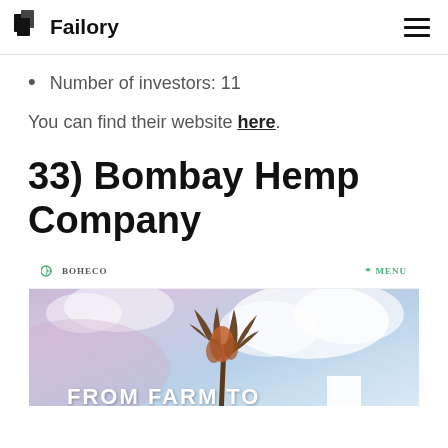Failory
Number of investors: 11
You can find their website here.
33) Bombay Hemp Company
[Figure (screenshot): Screenshot of the Bombay Hemp Company (BOHECO) website showing their navigation bar with logo and MENU link, and a hero image of a hemp plant against a cloudy sky with the text 'FROM FARM TO' visible at the bottom.]